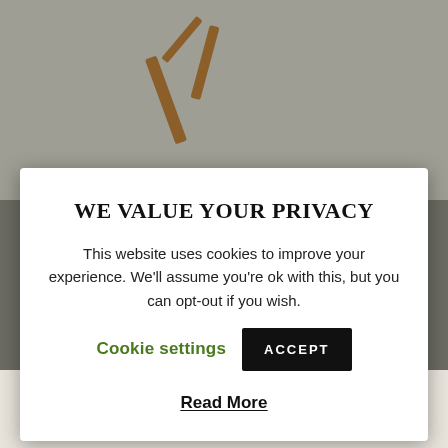[Figure (photo): Background showing a website page with a figure holding cricket/sports equipment at the top and a person crouching at the bottom, with text 'COURSES FOR SCHOOLS']
WE VALUE YOUR PRIVACY
This website uses cookies to improve your experience. We'll assume you're ok with this, but you can opt-out if you wish.
Cookie settings   ACCEPT
Read More
COURSES FOR SCHOOLS